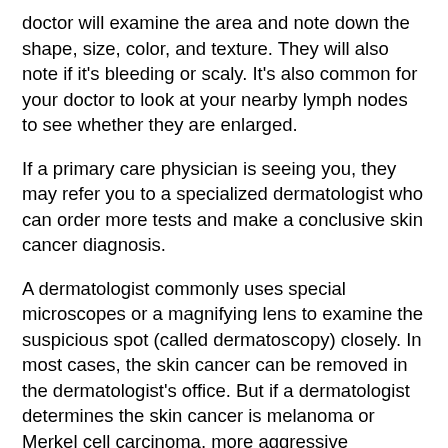doctor will examine the area and note down the shape, size, color, and texture. They will also note if it's bleeding or scaly. It's also common for your doctor to look at your nearby lymph nodes to see whether they are enlarged.
If a primary care physician is seeing you, they may refer you to a specialized dermatologist who can order more tests and make a conclusive skin cancer diagnosis.
A dermatologist commonly uses special microscopes or a magnifying lens to examine the suspicious spot (called dermatoscopy) closely. In most cases, the skin cancer can be removed in the dermatologist's office. But if a dermatologist determines the skin cancer is melanoma or Merkel cell carcinoma, more aggressive treatment may be required.